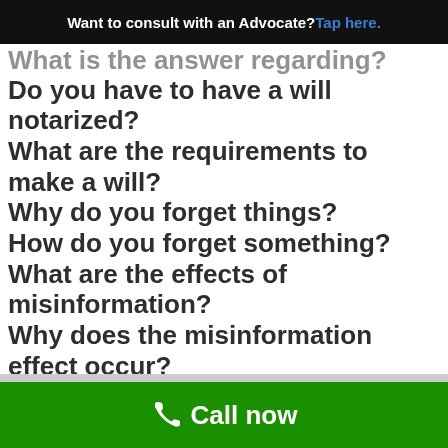Want to consult with an Advocate? Tap here.
What is the answer regarding?
Do you have to have a will notarized?
What are the requirements to make a will?
Why do you forget things?
How do you forget something?
What are the effects of misinformation?
Why does the misinformation effect occur?
What is a repressed memory?
What is a will when someone dies?
What is a legal will?
Call now